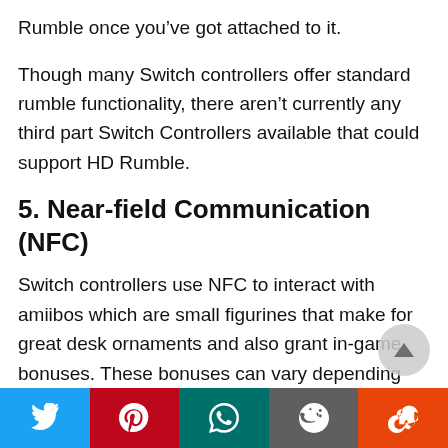Rumble once you've got attached to it.
Though many Switch controllers offer standard rumble functionality, there aren't currently any third part Switch Controllers available that could support HD Rumble.
5. Near-field Communication (NFC)
Switch controllers use NFC to interact with amiibos which are small figurines that make for great desk ornaments and also grant in-game bonuses. These bonuses can vary depending upon the game being played and the amiibos used.